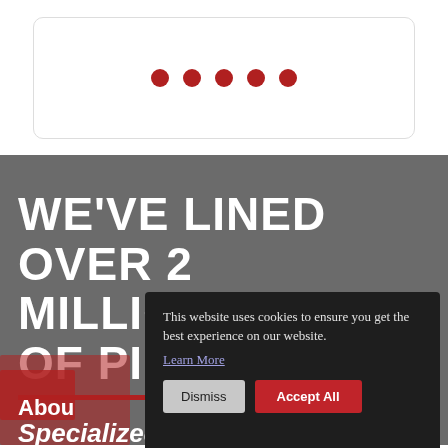[Figure (other): Five red dots in a horizontal row inside a white rounded card]
WE'VE LINED OVER 2 MILLION FEET OF PIPE!
About
Specialized Pipe
This website uses cookies to ensure you get the best experience on our website. Learn More
Dismiss
Accept All